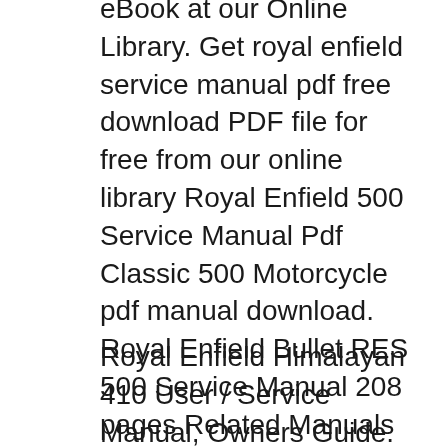eBook at our Online Library. Get royal enfield service manual pdf free download PDF file for free from our online library Royal Enfield 500 Service Manual Pdf Classic 500 Motorcycle pdf manual download. Royal Enfield Bullet RES 500 Service Manual 208 pages Related Manuals for Royal Enfield Classic 500. Use only genuine Royal Enfield spares whenever replacing parts. Use of non The service procedures recommended and detailed in this manual will help.
Royal Enfield Himalayan 410 User / Service Manual, Owners Guide. Print Full Specifications Himalayan Motorcycle pdf manual download. Contact a nearest